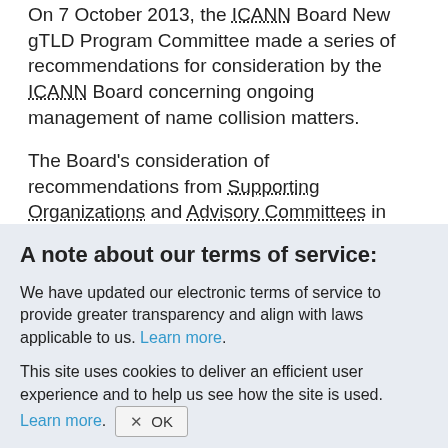On 7 October 2013, the ICANN Board New gTLD Program Committee made a series of recommendations for consideration by the ICANN Board concerning ongoing management of name collision matters.
The Board's consideration of recommendations from Supporting Organizations and Advisory Committees in general, and for SAC062 in specific, needs to be informed by an analysis of both the
A note about our terms of service:
We have updated our electronic terms of service to provide greater transparency and align with laws applicable to us. Learn more.
This site uses cookies to deliver an efficient user experience and to help us see how the site is used. Learn more. OK